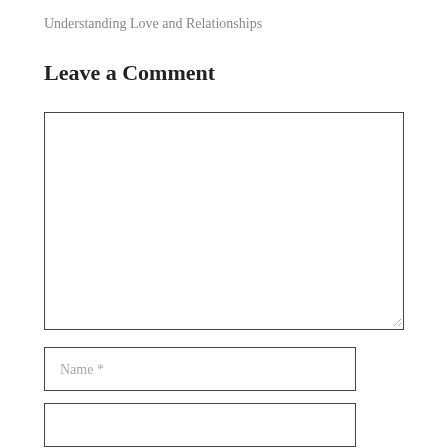Understanding Love and Relationships
Leave a Comment
[Figure (other): Comment text area input box with resize handle at bottom right]
[Figure (other): Name input field with placeholder text 'Name *']
[Figure (other): Email input field (partially visible at bottom)]